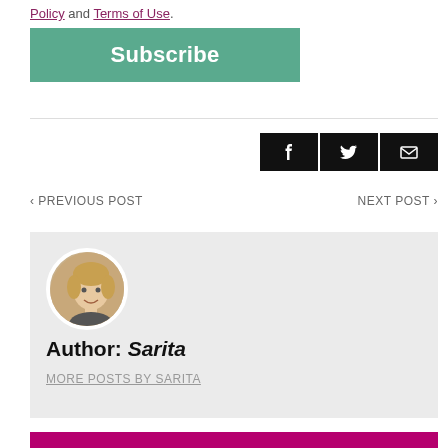Policy and Terms of Use.
Subscribe
[Figure (other): Social share icons: Facebook, Twitter, Email (black square buttons)]
‹ PREVIOUS POST
NEXT POST ›
[Figure (photo): Circular author avatar photo of a smiling woman with short blonde hair]
Author: Sarita
MORE POSTS BY SARITA
RELATED POSTS